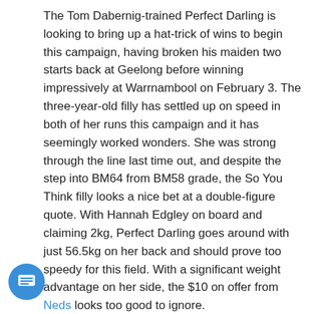The Tom Dabernig-trained Perfect Darling is looking to bring up a hat-trick of wins to begin this campaign, having broken his maiden two starts back at Geelong before winning impressively at Warrnambool on February 3. The three-year-old filly has settled up on speed in both of her runs this campaign and it has seemingly worked wonders. She was strong through the line last time out, and despite the step into BM64 from BM58 grade, the So You Think filly looks a nice bet at a double-figure quote. With Hannah Edgley on board and claiming 2kg, Perfect Darling goes around with just 56.5kg on her back and should prove too speedy for this field. With a significant weight advantage on her side, the $10 on offer from Neds looks too good to ignore.
| BEST VALUE |
| Race 7 – Perfect Darling (#12) |
| $10 with Neds |